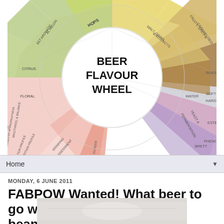[Figure (infographic): Beer Flavour Wheel diagram showing segments for Hops, Malt/Grain & Adjuncts, Fruity/Spicy & Caramelised, Roasted, Water (Soft/Hard), Yeast & Fermentation, Esters, Phenols, Brett, Mouthfeel & Balance, Drinking Assessment sections arranged in a wheel with 'BEER FLAVOUR WHEEL' text in the centre circle.]
Home ▼
MONDAY, 6 JUNE 2011
FABPOW Wanted! What beer to go with sausage, chips and beans?
[Figure (photo): Partial photo of food at bottom of page]